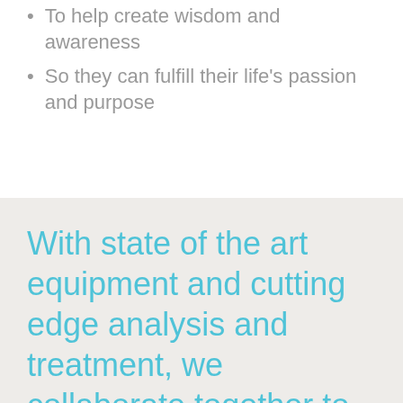To help create wisdom and awareness
So they can fulfill their life's passion and purpose
With state of the art equipment and cutting edge analysis and treatment, we collaborate together to